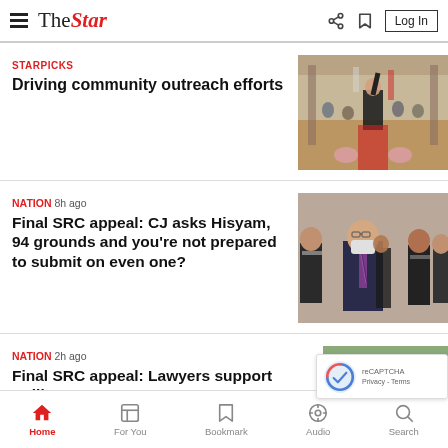The Star — Log In
STARPICKS
Driving community outreach efforts
[Figure (photo): Community event photo showing people in a large hall, one person with raised fist wearing a mask]
NATION  8h ago
Final SRC appeal: CJ asks Hisyam, 94 grounds and you're not prepared to submit on even one?
[Figure (photo): Photo of an elderly man in a suit and mask flanked by others also wearing masks]
NATION  2h ago
Final SRC appeal: Lawyers support Najib...
[Figure (photo): Partially visible photo of a person]
Home  For You  Bookmark  Audio  Search